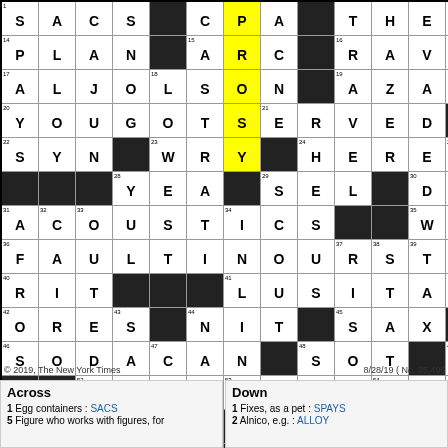[Figure (other): NYT Crossword puzzle grid 8/28/19 No. 25,495 with filled answers including PLAN, ARC, RAVINE, ALJOLSON, AZALEA, YOUGOTSERVED, SYN, WRY, HERE, IAM, YEA, SEL, DOTE, ACOUSTICS, WAN, FAULTINOURSTARS, RIT, LUSITANIA, ORES, NIT, SAX, SODACAN, SOT, FEB, LOVEACTUALLY, SATORI, HATEMAIL, STOOGE, ORO, PITA, TENNIS, YES, SLEW and highlighted yellow cells spelling POSY]
© 2019, The New York Times    8/28/19 ( No. 25,495 )
Across
Down
1 Egg containers : SACS
5 Figure who works with figures, for
1 Fixes, as a pet : SPAYS
2 Alnico, e.g. : ALLOY